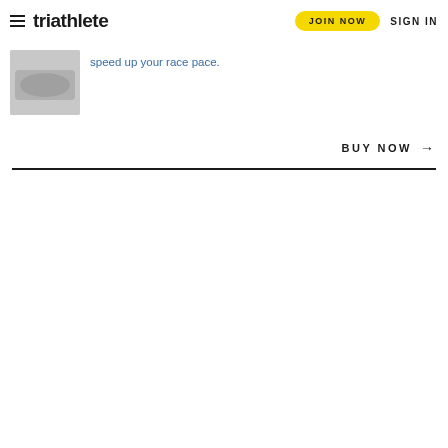triathlete | JOIN NOW | SIGN IN
speed up your race pace.
BUY NOW →